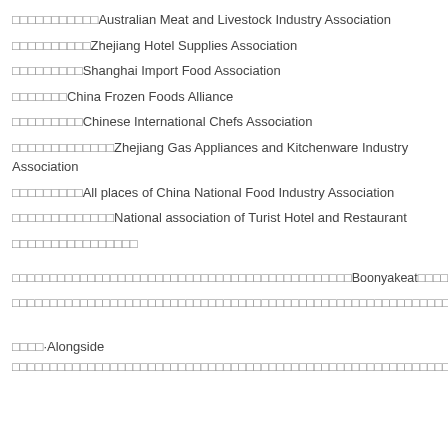□□□□□□□□□□□Australian Meat and Livestock Industry Association
□□□□□□□□□□Zhejiang Hotel Supplies Association
□□□□□□□□□Shanghai Import Food Association
□□□□□□□China Frozen Foods Alliance
□□□□□□□□□Chinese International Chefs Association
□□□□□□□□□□□□□Zhejiang Gas Appliances and Kitchenware Industry Association
□□□□□□□□□All places of China National Food Industry Association
□□□□□□□□□□□□□National association of Turist Hotel and Restaurant
□□□□□□□□□□□□□□□□
□□□□□□□□□□□□□□□□□□□□□□□□□□□□□□□□□□□□□□□□□□□□Boonyakeat□□□□□□□□□□□□□□□□□□□□
□□□□□□□□□□□□□□□□□□□□□□□□□□□□□□□□□□□□□□□□□□□□□□□□□□□□□□□□□□□□□□□□□□□□□□□□□□□□□□□□
□□□□·Alongside
□□□□□□□□□□□□□□□□□□□□□□□□□□□□□□□□□□□□□□□□□□□□□□□□□□□□□□□□□□□□□□□□□□